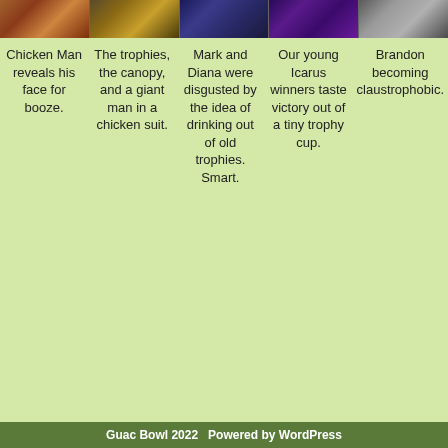[Figure (photo): Strip of five photos showing people at an event]
Chicken Man reveals his face for booze.
The trophies, the canopy, and a giant man in a chicken suit.
Mark and Diana were disgusted by the idea of drinking out of old trophies. Smart.
Our young Icarus winners taste victory out of a tiny trophy cup.
Brandon becoming claustrophobic.
Guac Bowl 2022   Powered by WordPress